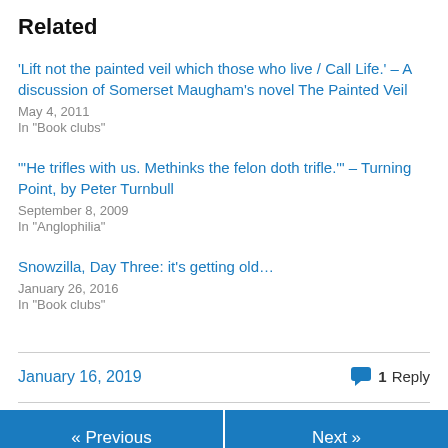Related
'Lift not the painted veil which those who live / Call Life.' – A discussion of Somerset Maugham's novel The Painted Veil
May 4, 2011
In "Book clubs"
"'He trifles with us. Methinks the felon doth trifle.'" – Turning Point, by Peter Turnbull
September 8, 2009
In "Anglophilia"
Snowzilla, Day Three: it's getting old…
January 26, 2016
In "Book clubs"
January 16, 2019   1 Reply
« Previous   Next »